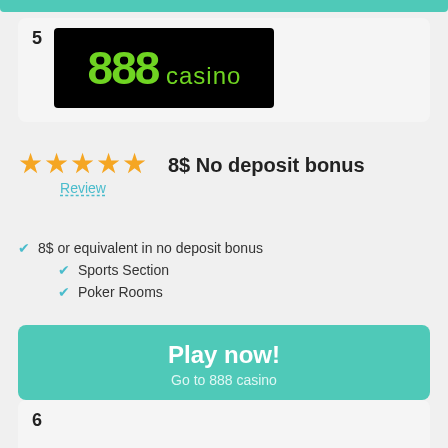[Figure (logo): 888 casino logo — black background with green 888 and green 'casino' text]
[Figure (other): Five gold stars rating]
Review
8$ No deposit bonus
8$ or equivalent in no deposit bonus
Sports Section
Poker Rooms
Play now! Go to 888 casino